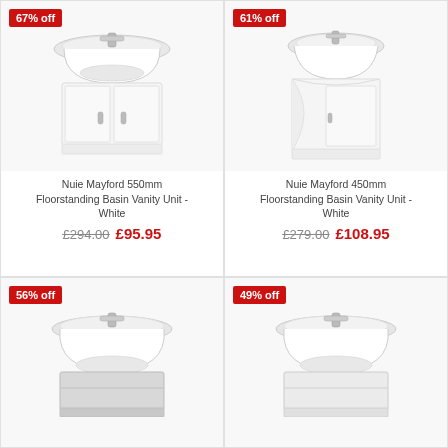[Figure (photo): Nuie Mayford 550mm Floorstanding Basin Vanity Unit - White, 67% off badge]
Nuie Mayford 550mm Floorstanding Basin Vanity Unit - White
£294.00 £95.95
[Figure (photo): Nuie Mayford 450mm Floorstanding Basin Vanity Unit - White, 61% off badge]
Nuie Mayford 450mm Floorstanding Basin Vanity Unit - White
£279.00 £108.95
[Figure (photo): Bathroom vanity unit with basin, 56% off badge]
[Figure (photo): Bathroom vanity unit with basin, 49% off badge]